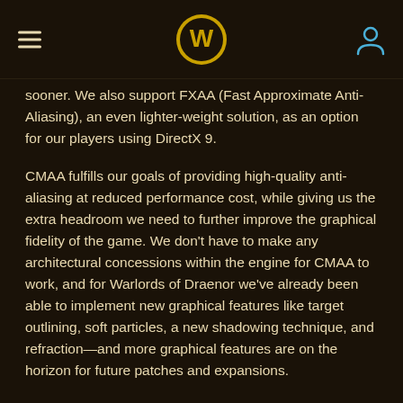World of Warcraft header navigation with hamburger menu, WoW logo, and user icon
sooner. We also support FXAA (Fast Approximate Anti-Aliasing), an even lighter-weight solution, as an option for our players using DirectX 9.
CMAA fulfills our goals of providing high-quality anti-aliasing at reduced performance cost, while giving us the extra headroom we need to further improve the graphical fidelity of the game. We don't have to make any architectural concessions within the engine for CMAA to work, and for Warlords of Draenor we've already been able to implement new graphical features like target outlining, soft particles, a new shadowing technique, and refraction—and more graphical features are on the horizon for future patches and expansions.
For the launch of Warlords of Draenor, CMAA is the top-tier graphical setting available, but after release we'll be exploring more options for players with high-performance graphics cards...